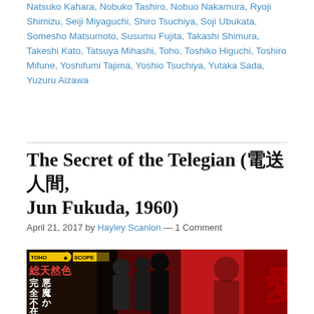Natsuko Kahara, Nobuko Tashiro, Nobuo Nakamura, Ryoji Shimizu, Seiji Miyaguchi, Shiro Tsuchiya, Soji Ubukata, Somesho Matsumoto, Susumu Fujita, Takashi Shimura, Takeshi Kato, Tatsuya Mihashi, Toho, Toshiko Higuchi, Toshiro Mifune, Yoshifumi Tajima, Yoshio Tsuchiya, Yutaka Sada, Yuzuru Aizawa
The Secret of the Telegian (電送人間, Jun Fukuda, 1960)
April 21, 2017 by Hayley Scanlon — 1 Comment
[Figure (photo): Movie poster for The Secret of the Telegian showing Tohoscope branding in yellow on black/dark background, Japanese kanji text in red and white on the left side, and film noir style figures of actors in the center and right against a red dramatic background.]